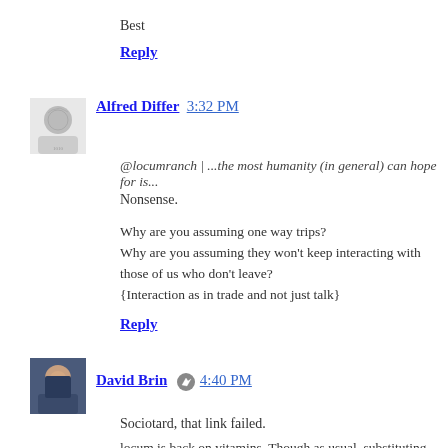Best
Reply
Alfred Differ  3:32 PM
@locumranch | ...the most humanity (in general) can hope for is...
Nonsense.
Why are you assuming one way trips?
Why are you assuming they won't keep interacting with those of us who don't leave?
{Interaction as in trade and not just talk}
Reply
David Brin  4:40 PM
Sociotard, that link failed.
locum is back on vitamins. Though as usual, substituting absolutely